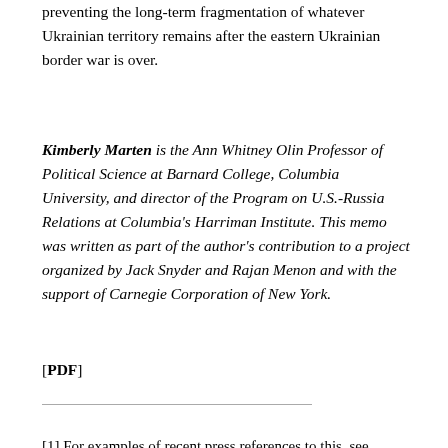preventing the long-term fragmentation of whatever Ukrainian territory remains after the eastern Ukrainian border war is over.
Kimberly Marten is the Ann Whitney Olin Professor of Political Science at Barnard College, Columbia University, and director of the Program on U.S.-Russia Relations at Columbia's Harriman Institute. This memo was written as part of the author's contribution to a project organized by Jack Snyder and Rajan Menon and with the support of Carnegie Corporation of New York.
[PDF]
[1] For examples of recent press references to this, see